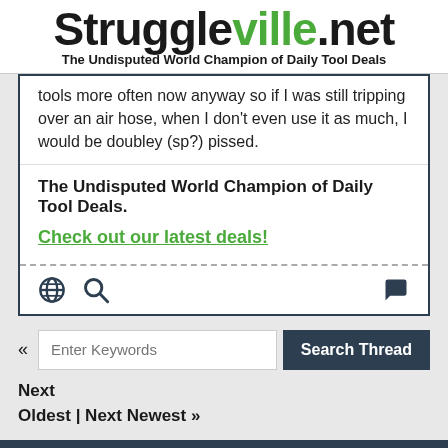Struggleville.net - The Undisputed World Champion of Daily Tool Deals
tools more often now anyway so if I was still tripping over an air hose, when I don't even use it as much, I would be doubley (sp?) pissed.
The Undisputed World Champion of Daily Tool Deals.
Check out our latest deals!
« Next Oldest | Next Newest »